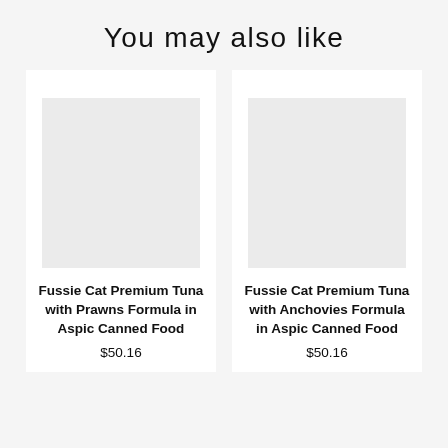You may also like
Fussie Cat Premium Tuna with Prawns Formula in Aspic Canned Food
$50.16
Fussie Cat Premium Tuna with Anchovies Formula in Aspic Canned Food
$50.16